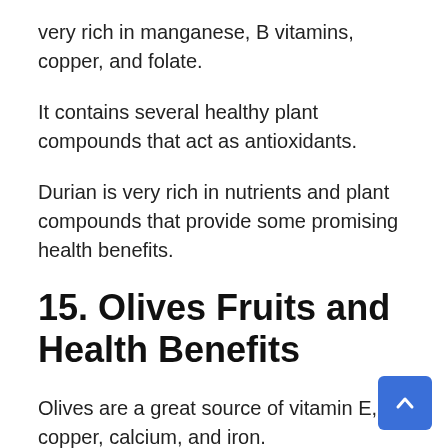very rich in manganese, B vitamins, copper, and folate.
It contains several healthy plant compounds that act as antioxidants.
Durian is very rich in nutrients and plant compounds that provide some promising health benefits.
15. Olives Fruits and Health Benefits
Olives are a great source of vitamin E, copper, calcium, and iron.
They provide a lot of antioxidants that may help